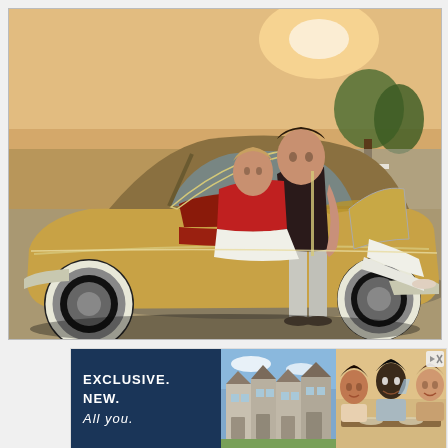[Figure (photo): Vintage 1950s color photograph of a man in a dark shirt and light gray pants standing next to a gold/tan classic American car with the rear door open. A woman in a red top and white pants/skirt is sitting inside the car. The setting appears to be a parking lot on a sunny day with trees in the background.]
[Figure (photo): Advertisement banner. Left section has dark navy blue background with bold white text reading 'EXCLUSIVE. NEW. All you.' Center shows a photo of townhouse/rowhouse apartment building. Right shows a lifestyle photo of three smiling people at a dining table. Top right has a small dismiss button with play/ad icon and X.]